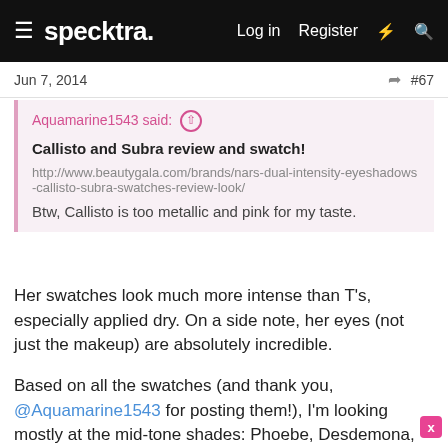specktra. Log in Register
Jun 7, 2014  #67
Aquamarine1543 said:
Callisto and Subra review and swatch!

http://www.beautygala.com/brands/nars-dual-intensity-eyeshadows-callisto-subra-swatches-review-look/

Btw, Callisto is too metallic and pink for my taste.
Her swatches look much more intense than T's, especially applied dry. On a side note, her eyes (not just the makeup) are absolutely incredible.
Based on all the swatches (and thank you, @Aquamarine1543 for posting them!), I'm looking mostly at the mid-tone shades: Phoebe, Desdemona, Subra (love this one!), Dione, Himalia (those last two look too similar to warrant owning both, although I'll reserve judgment until I see them in person), maybe Lysithea (although the dry colour payoff looks weak on T's swatch). I